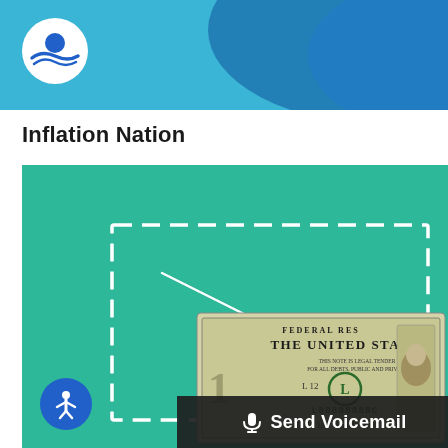Inflation Nation
[Figure (illustration): Green background panel with white dashed border rectangle and a white arrow pointing toward a US one-dollar bill image in the lower right. A US dollar bill is visible with text 'THE UNITED STATES', serial number 'L88888888C', and the number 12. An accessibility icon button (person in circle) appears in the lower left corner. A 'Send Voicemail' dark bar with microphone icon appears at the bottom.]